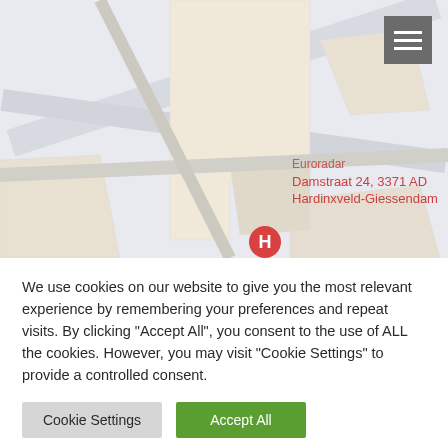[Figure (map): Google Maps screenshot showing Euroradar at Damstraat 24, 3371 AD Hardinxveld-Giessendam, with a red location pin and an H marker. A hamburger menu icon is visible in the top-right corner.]
We use cookies on our website to give you the most relevant experience by remembering your preferences and repeat visits. By clicking "Accept All", you consent to the use of ALL the cookies. However, you may visit "Cookie Settings" to provide a controlled consent.
Cookie Settings
Accept All